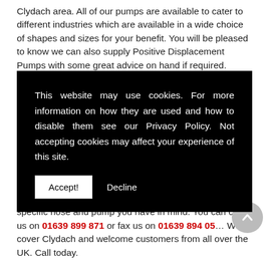Clydach area. All of our pumps are available to cater to different industries which are available in a wide choice of shapes and sizes for your benefit. You will be pleased to know we can also supply Positive Displacement Pumps with some great advice on hand if required.
This website may use cookies. For more information on how they are used and how to disable them see our Privacy Policy. Not accepting cookies may affect your experience of this site.
Positive Displacement Pumps or to enquire about a specific hose and pump you have in mind. You can call us on 01639 899 871 or fax us on 01639 894 05... We cover Clydach and welcome customers from all over the UK. Call today.